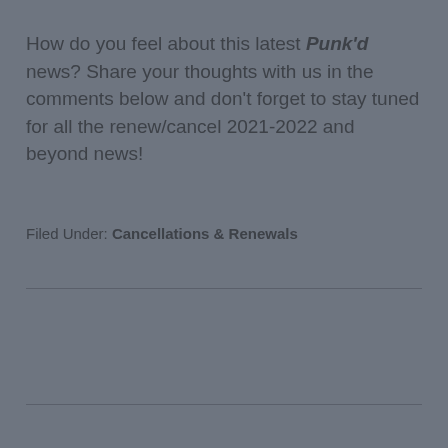How do you feel about this latest Punk'd news? Share your thoughts with us in the comments below and don't forget to stay tuned for all the renew/cancel 2021-2022 and beyond news!
Filed Under: Cancellations & Renewals